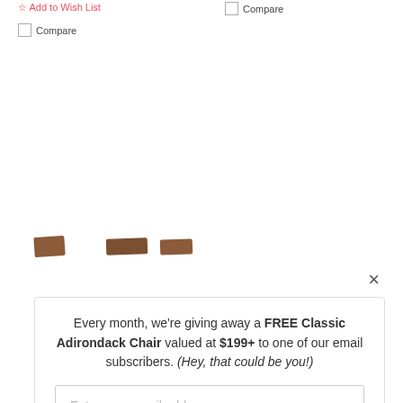Add to Wish List
Compare
Compare
[Figure (photo): Three small brown wood furniture thumbnail images shown as a strip]
×
Every month, we're giving away a FREE Classic Adirondack Chair valued at $199+ to one of our email subscribers. (Hey, that could be you!)
Enter your email address
SIGN ME UP!
One (1) winner will be selected at random at the end of every month and contacted by email. U.S. entrants only.